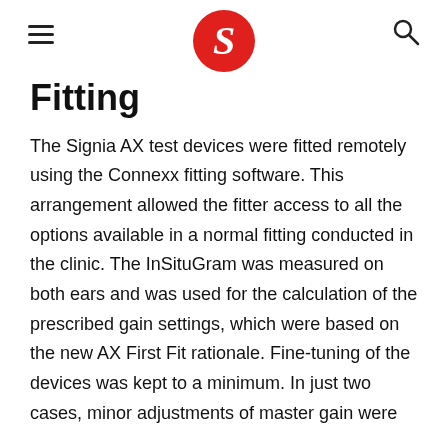≡  [Signia logo]  🔍
Fitting
The Signia AX test devices were fitted remotely using the Connexx fitting software. This arrangement allowed the fitter access to all the options available in a normal fitting conducted in the clinic. The InSituGram was measured on both ears and was used for the calculation of the prescribed gain settings, which were based on the new AX First Fit rationale. Fine-tuning of the devices was kept to a minimum. In just two cases, minor adjustments of master gain were